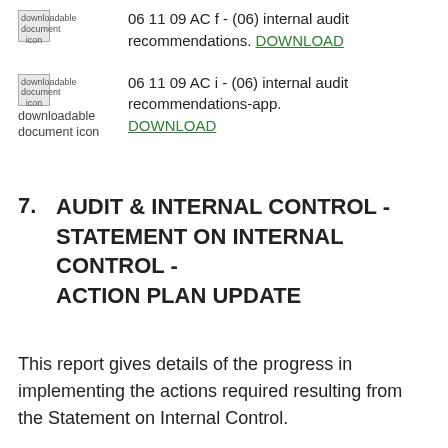downloadable document icon  06 11 09 AC f - (06) internal audit recommendations. DOWNLOAD
downloadable document icon  06 11 09 AC i - (06) internal audit recommendations-app. DOWNLOAD
7.   AUDIT & INTERNAL CONTROL - STATEMENT ON INTERNAL CONTROL - ACTION PLAN UPDATE
This report gives details of the progress in implementing the actions required resulting from the Statement on Internal Control.